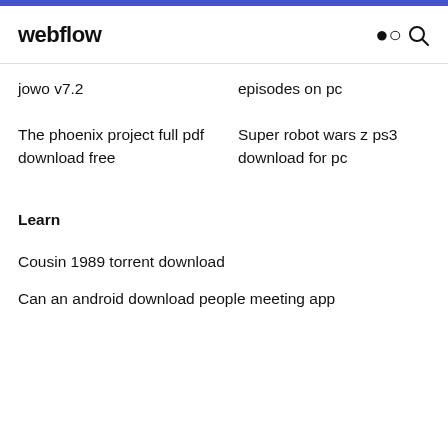webflow
jowo v7.2
episodes on pc
The phoenix project full pdf download free
Super robot wars z ps3 download for pc
Learn
Cousin 1989 torrent download
Can an android download people meeting app